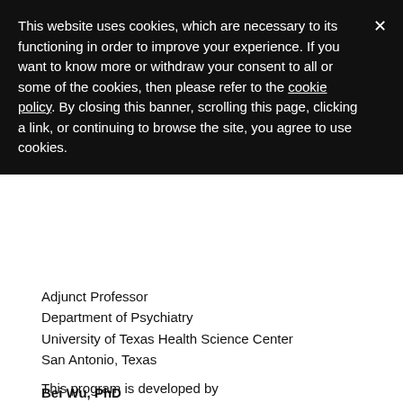This website uses cookies, which are necessary to its functioning in order to improve your experience. If you want to know more or withdraw your consent to all or some of the cookies, then please refer to the cookie policy. By closing this banner, scrolling this page, clicking a link, or continuing to browse the site, you agree to use cookies.
Adjunct Professor
Department of Psychiatry
University of Texas Health Science Center
San Antonio, Texas
Bei Wu, PhD
Dean's Chair Professor in Global Health
Rory Meyers College of Nursing
New York University
New York, New York
This program is developed by